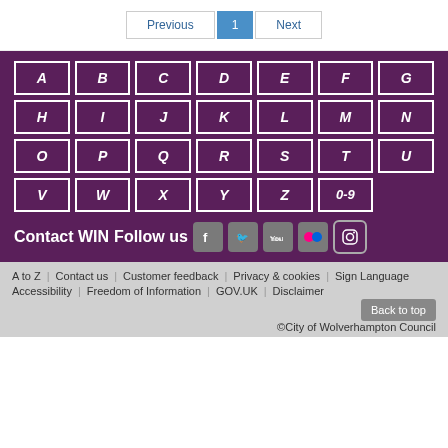Previous | 1 | Next
[Figure (other): Alphabet A-Z and 0-9 navigation grid on purple background]
Contact WIN Follow us
A to Z | Contact us | Customer feedback | Privacy & cookies | Sign Language | Accessibility | Freedom of Information | GOV.UK | Disclaimer | Back to top | ©City of Wolverhampton Council